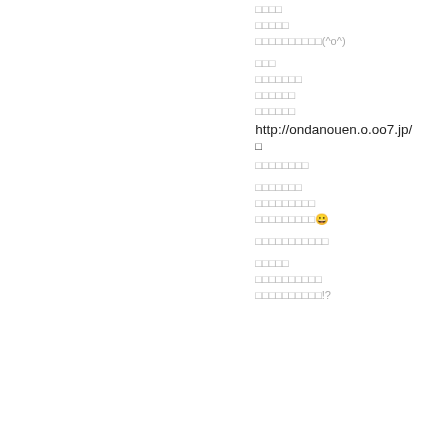□□□□
□□□□□
□□□□□□□□□□(^o^)
□□□
□□□□□□□
□□□□□□
□□□□□□
http://ondanouen.o.oo7.jp/
□
□□□□□□□□
□□□□□□□
□□□□□□□□□
□□□□□□□□□😀
□□□□□□□□□□□
□□□□□
□□□□□□□□□□
□□□□□□□□□□!?